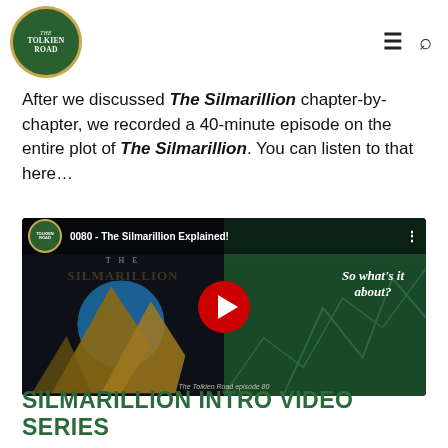Tolkien Road
After we discussed The Silmarillion chapter-by-chapter, we recorded a 40-minute episode on the entire plot of The Silmarillion. You can listen to that here…
[Figure (screenshot): YouTube video thumbnail for '0080 - The Silmarillion Explained!' from The Tolkien Road podcast. Left half shows a dark background with stylized golden mountains and a blue circle. Right half is dark green with the text 'So what's it about?' in italic white. The Tolkien Road logo appears in the upper left, episode title in the title bar, and 'The Tolkien Road episode 80' caption at the bottom.]
SILMARILLION INTRO VIDEO SERIES